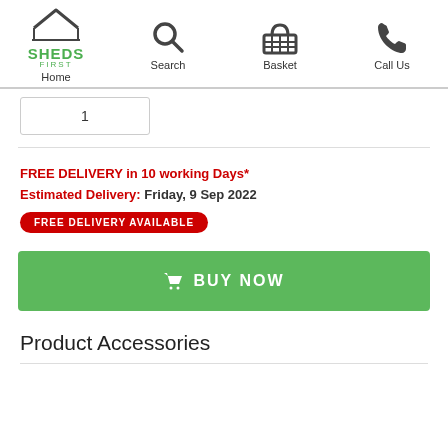Home | Search | Basket | Call Us
1
FREE DELIVERY in 10 working Days*
Estimated Delivery: Friday, 9 Sep 2022
FREE DELIVERY AVAILABLE
BUY NOW
Product Accessories